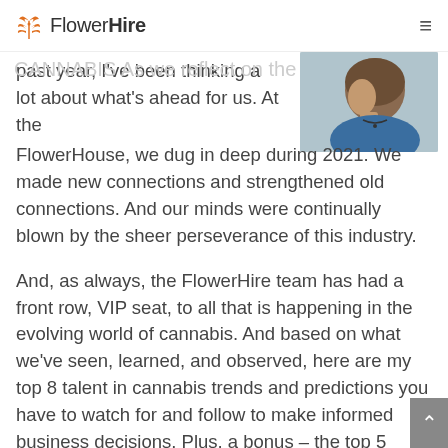FlowerHire
[Figure (photo): Partial portrait photo of a person with short hair wearing a blue top and necklace, cropped to show the back/side of the head and shoulder area]
past year, I've been thinking a lot about what's ahead for us. At the FlowerHouse, we dug in deep during 2021. We made new connections and strengthened old connections. And our minds were continually blown by the sheer perseverance of this industry.
And, as always, the FlowerHire team has had a front row, VIP seat, to all that is happening in the evolving world of cannabis. And based on what we've seen, learned, and observed, here are my top 8 talent in cannabis trends and predictions you have to watch for and follow to make informed business decisions. Plus, a bonus – the top 5 cannabis skill sets and jobs in 2022.